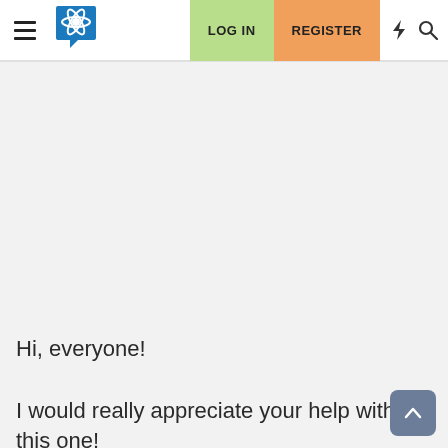LOG IN  REGISTER
Hi, everyone!

I would really appreciate your help with this one!